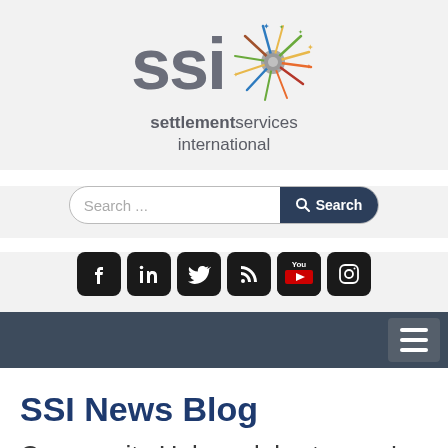[Figure (logo): SSI Settlement Services International logo with colorful starburst icon and bold grey 'ssi' text]
[Figure (screenshot): Search bar with text 'Search ...' and dark blue Search button with magnifying glass icon]
[Figure (infographic): Row of social media icons: Facebook, LinkedIn, Twitter, RSS, YouTube, Instagram — all dark rounded square icons]
[Figure (screenshot): Dark navy navigation bar with hamburger menu button on right side]
SSI News Blog
Community Hubs celebrate year's achievements